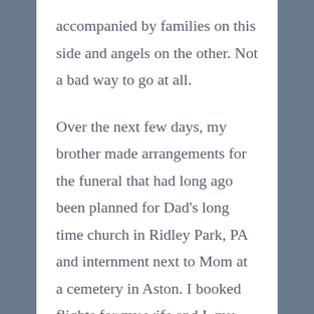accompanied by families on this side and angels on the other. Not a bad way to go at all.
Over the next few days, my brother made arrangements for the funeral that had long ago been planned for Dad's long time church in Ridley Park, PA and internment next to Mom at a cemetery in Aston. I booked flights for my wife and I, my son, and one of my